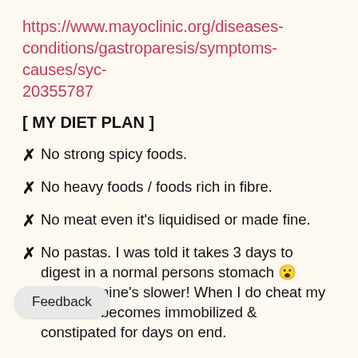https://www.mayoclinic.org/diseases-conditions/gastroparesis/symptoms-causes/syc-20355787
[ MY DIET PLAN ]
✗ No strong spicy foods.
✗ No heavy foods / foods rich in fibre.
✗ No meat even it’s liquidised or made fine.
✗ No pastas. I was told it takes 3 days to digest in a normal persons stomach 😮 imagine mine’s slower! When I do cheat my stomach becomes immobilized & constipated for days on end.